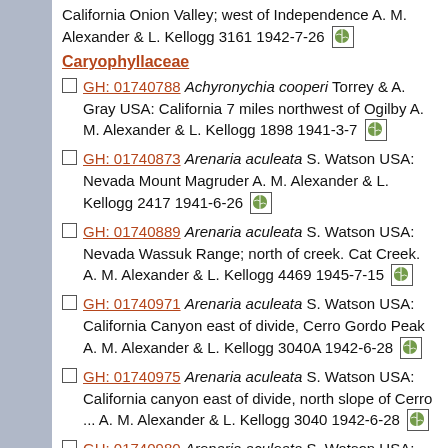California Onion Valley; west of Independence A. M. Alexander & L. Kellogg 3161 1942-7-26
Caryophyllaceae
GH: 01740788 Achyronychia cooperi Torrey & A. Gray USA: California 7 miles northwest of Ogilby A. M. Alexander & L. Kellogg 1898 1941-3-7
GH: 01740873 Arenaria aculeata S. Watson USA: Nevada Mount Magruder A. M. Alexander & L. Kellogg 2417 1941-6-26
GH: 01740889 Arenaria aculeata S. Watson USA: Nevada Wassuk Range; north of creek. Cat Creek. A. M. Alexander & L. Kellogg 4469 1945-7-15
GH: 01740971 Arenaria aculeata S. Watson USA: California Canyon east of divide, Cerro Gordo Peak A. M. Alexander & L. Kellogg 3040A 1942-6-28
GH: 01740975 Arenaria aculeata S. Watson USA: California canyon east of divide, north slope of Cerro ... A. M. Alexander & L. Kellogg 3040 1942-6-28
GH: 01740980 Arenaria aculeata S. Watson USA: California Near base of hill slope, 4th of July Canyon ... A. M. Alexander &